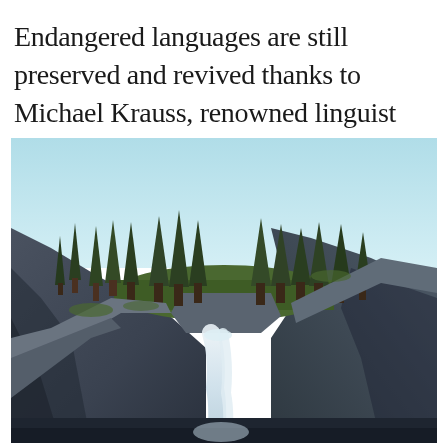Endangered languages are still preserved and revived thanks to Michael Krauss, renowned linguist and champion of linguistic diversity.
[Figure (photo): Outdoor nature photograph showing a dramatic mountain gorge with tall evergreen pine trees along rocky cliffs, and a waterfall cascading down the rock face in the background. Blue sky visible above the treeline. The scene is reminiscent of Yosemite National Park.]